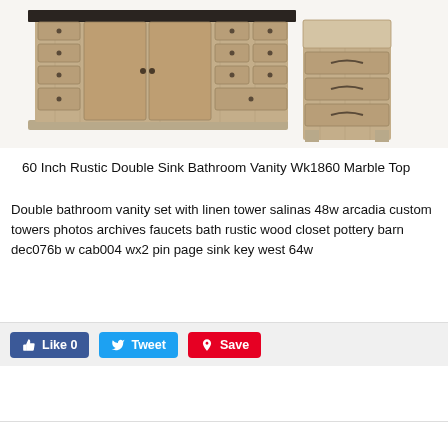[Figure (photo): Product photo showing a 60 inch rustic double sink bathroom vanity with marble top (left) and a matching linen tower cabinet (right). The vanity has multiple drawers on both sides and a double-door center cabinet in reclaimed wood finish. The linen tower has three drawers.]
60 Inch Rustic Double Sink Bathroom Vanity Wk1860 Marble Top
Double bathroom vanity set with linen tower salinas 48w arcadia custom towers photos archives faucets bath rustic wood closet pottery barn dec076b w cab004 wx2 pin page sink key west 64w